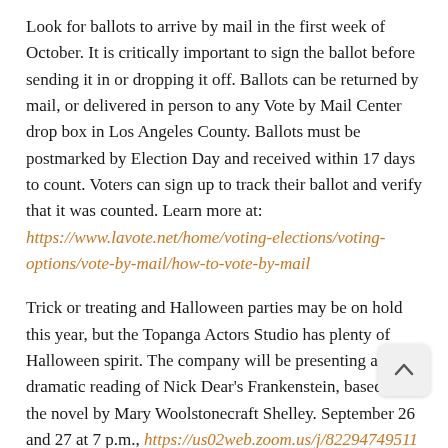Look for ballots to arrive by mail in the first week of October. It is critically important to sign the ballot before sending it in or dropping it off. Ballots can be returned by mail, or delivered in person to any Vote by Mail Center drop box in Los Angeles County. Ballots must be postmarked by Election Day and received within 17 days to count. Voters can sign up to track their ballot and verify that it was counted. Learn more at: https://www.lavote.net/home/voting-elections/voting-options/vote-by-mail/how-to-vote-by-mail
Trick or treating and Halloween parties may be on hold this year, but the Topanga Actors Studio has plenty of Halloween spirit. The company will be presenting a dramatic reading of Nick Dear's Frankenstein, based on the novel by Mary Woolstonecraft Shelley. September 26 and 27 at 7 p.m., https://us02web.zoom.us/j/82294749511
Do you have a favorite Halloween story or photograph...